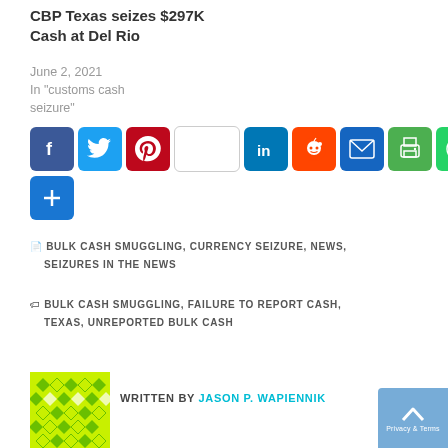CBP Texas seizes $297K Cash at Del Rio
June 2, 2021
In "customs cash seizure"
[Figure (other): Social media share buttons: Facebook, Twitter, Pinterest, blank, LinkedIn, Reddit, Email, Print, WhatsApp, plus More]
BULK CASH SMUGGLING, CURRENCY SEIZURE, NEWS, SEIZURES IN THE NEWS
BULK CASH SMUGGLING, FAILURE TO REPORT CASH, TEXAS, UNREPORTED BULK CASH
WRITTEN BY JASON P. WAPIENNIK
[Figure (logo): Author avatar: green diamond pattern logo]
[Figure (other): Back to top widget button]